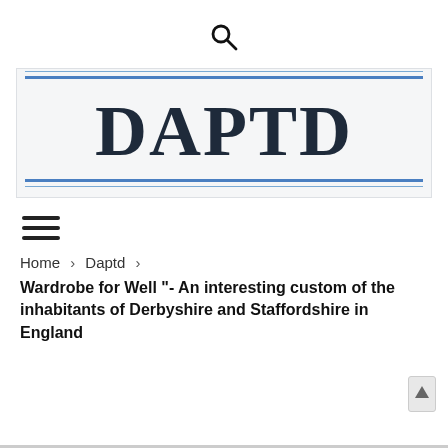[Figure (logo): Search icon (magnifying glass) at top center of page]
[Figure (logo): DAPTD text logo banner with blue decorative lines on light grey background]
[Figure (other): Hamburger menu icon with three horizontal lines]
Home > Daptd >
Wardrobe for Well "- An interesting custom of the inhabitants of Derbyshire and Staffordshire in England